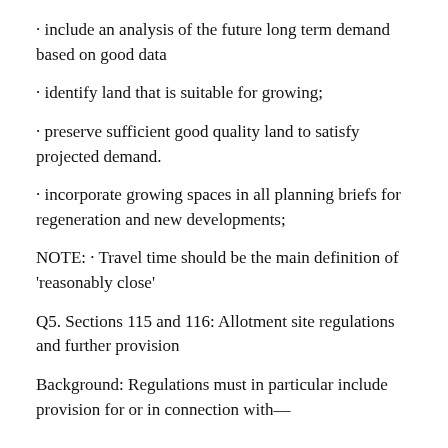· include an analysis of the future long term demand based on good data
· identify land that is suitable for growing;
· preserve sufficient good quality land to satisfy projected demand.
· incorporate growing spaces in all planning briefs for regeneration and new developments;
NOTE: · Travel time should be the main definition of 'reasonably close'
Q5. Sections 115 and 116: Allotment site regulations and further provision
Background: Regulations must in particular include provision for or in connection with—